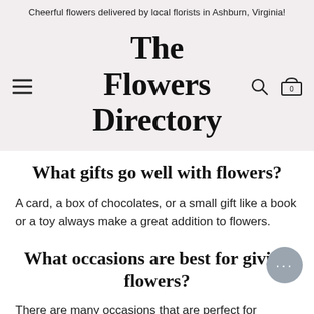Cheerful flowers delivered by local florists in Ashburn, Virginia!
The Flowers Directory
What gifts go well with flowers?
A card, a box of chocolates, or a small gift like a book or a toy always make a great addition to flowers.
What occasions are best for giving flowers?
There are many occasions that are perfect for